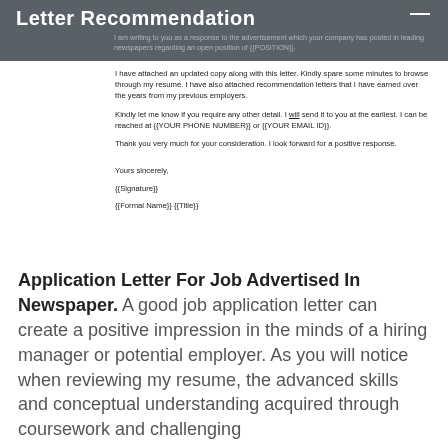Letter Recommendation
I am writing to you as a response to the advertisement which your company has posted in leading newspapers regarding an open position of {{POSITION}}.
I have attached an updated copy along with this letter. Kindly spare some minutes to browse through my resume. I have also attached recommendation letters that I have earned over the years from my previous employers.
Kindly let me know if you require any other detail. I will send it to you at the earliest. I can be reached at {{YOUR PHONE NUMBER}} or {{YOUR EMAIL ID}}.
Thank you very much for your consideration. I look forward for a positive response.
Yours sincerely,
{{Signature}}
{{Formal Name}} {{Title}}
Application Letter For Job Advertised In Newspaper. A good job application letter can create a positive impression in the minds of a hiring manager or potential employer. As you will notice when reviewing my resume, the advanced skills and conceptual understanding acquired through coursework and challenging